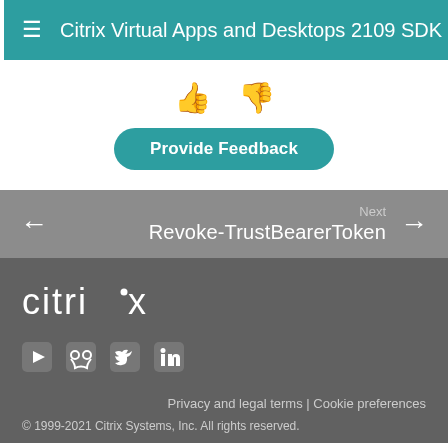Citrix Virtual Apps and Desktops 2109 SDK Da
[Figure (screenshot): Thumbs up and thumbs down feedback icons]
Provide Feedback
Next
Revoke-TrustBearerToken
[Figure (logo): citrix logo in white text on dark gray background]
[Figure (screenshot): Social media icons: YouTube, GitHub, Twitter, LinkedIn]
Privacy and legal terms | Cookie preferences
© 1999-2021 Citrix Systems, Inc. All rights reserved.